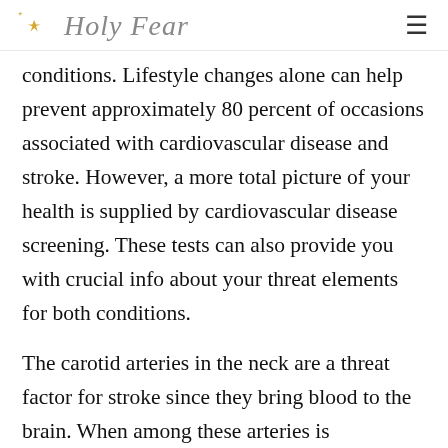Holy Fear
conditions. Lifestyle changes alone can help prevent approximately 80 percent of occasions associated with cardiovascular disease and stroke. However, a more total picture of your health is supplied by cardiovascular disease screening. These tests can also provide you with crucial info about your threat elements for both conditions.
The carotid arteries in the neck are a threat factor for stroke since they bring blood to the brain. When among these arteries is